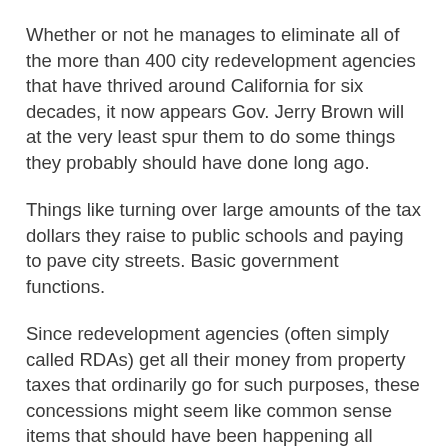Whether or not he manages to eliminate all of the more than 400 city redevelopment agencies that have thrived around California for six decades, it now appears Gov. Jerry Brown will at the very least spur them to do some things they probably should have done long ago.
Things like turning over large amounts of the tax dollars they raise to public schools and paying to pave city streets. Basic government functions.
Since redevelopment agencies (often simply called RDAs) get all their money from property taxes that ordinarily go for such purposes, these concessions might seem like common sense items that should have been happening all along.
But that's not often been how things worked. RDAs are local agencies authorized to declare certain parts of their cities blighted, then buy up the land and sell or give it to developers of shopping malls, hotels, stadiums, condominiums, apartments or office buildings. The difference between taxes paid on the property in its “blighted” pre-